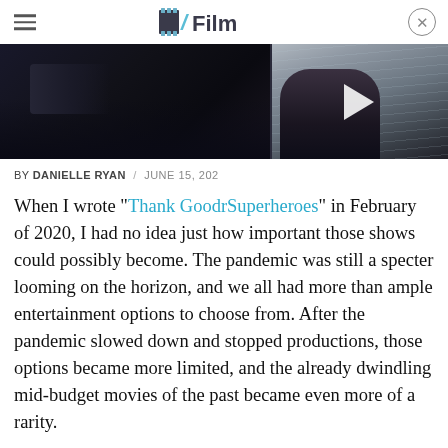/Film
[Figure (photo): Hero image split: dark cinematic scene on the left, Superman (Henry Cavill) in the rain on the right with a play button overlay]
BY DANIELLE RYAN / JUNE 15, 202
When I wrote "Thank Goodness for Superheroes" in February of 2020, I had no idea just how important those shows could possibly become. The pandemic was still a specter looming on the horizon, and we all had more than ample entertainment options to choose from. After the pandemic slowed down and stopped productions, those options became more limited, and the already dwindling mid-budget movies of the past became even more of a rarity.